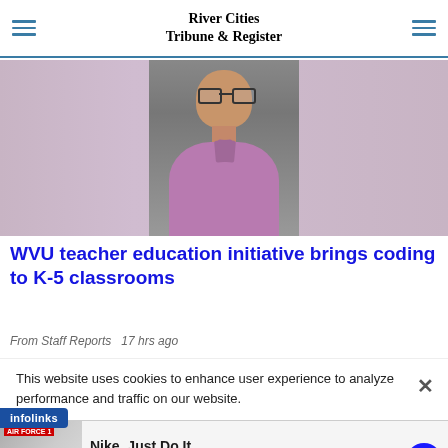River Cities Tribune & Register
[Figure (photo): Headshot of a man wearing glasses and a purple/lavender dress shirt, smiling, against a gray background]
WVU teacher education initiative brings coding to K-5 classrooms
From Staff Reports  17 hrs ago
This website uses cookies to enhance user experience to analyze performance and traffic on our website.
[Figure (infographic): infolinks advertisement badge]
[Figure (infographic): Nike advertisement banner: Nike. Just Do It. Inspiring the world's athletes, Nike delivers the deals. www.nike.com]